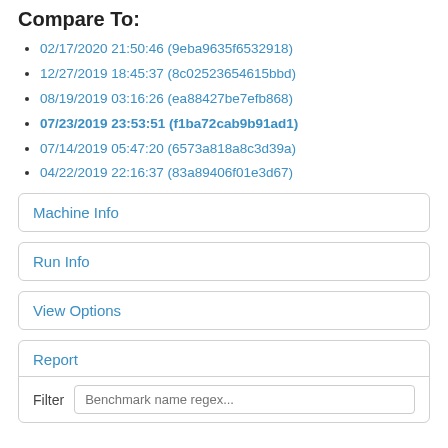Compare To:
02/17/2020 21:50:46 (9eba9635f6532918)
12/27/2019 18:45:37 (8c02523654615bbd)
08/19/2019 03:16:26 (ea88427be7efb868)
07/23/2019 23:53:51 (f1ba72cab9b91ad1)
07/14/2019 05:47:20 (6573a818a8c3d39a)
04/22/2019 22:16:37 (83a89406f01e3d67)
Machine Info
Run Info
View Options
Report
Filter  Benchmark name regex...